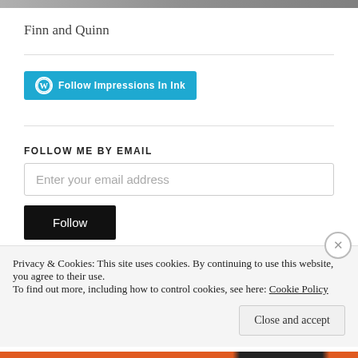[Figure (photo): Top strip image, partially visible]
Finn and Quinn
[Figure (other): Follow Impressions In Ink WordPress follow button (teal/blue)]
FOLLOW ME BY EMAIL
Enter your email address
Follow
Privacy & Cookies: This site uses cookies. By continuing to use this website, you agree to their use.
To find out more, including how to control cookies, see here: Cookie Policy
Close and accept